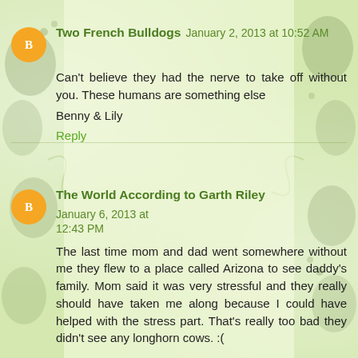Two French Bulldogs January 2, 2013 at 10:52 AM
Can't believe they had the nerve to take off without you. These humans are something else
Benny & Lily
Reply
The World According to Garth Riley January 6, 2013 at 12:43 PM
The last time mom and dad went somewhere without me they flew to a place called Arizona to see daddy's family. Mom said it was very stressful and they really should have taken me along because I could have helped with the stress part. That's really too bad they didn't see any longhorn cows. :(
Garth
Reply